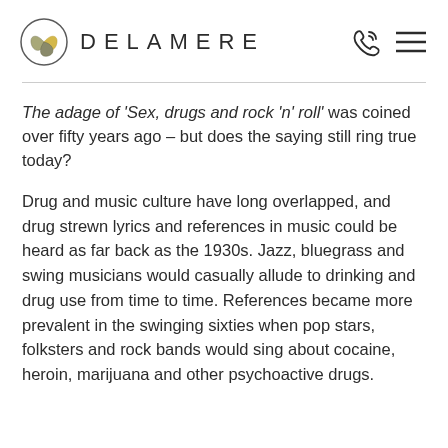DELAMERE
The adage of 'Sex, drugs and rock 'n' roll' was coined over fifty years ago – but does the saying still ring true today?
Drug and music culture have long overlapped, and drug strewn lyrics and references in music could be heard as far back as the 1930s. Jazz, bluegrass and swing musicians would casually allude to drinking and drug use from time to time. References became more prevalent in the swinging sixties when pop stars, folksters and rock bands would sing about cocaine, heroin, marijuana and other psychoactive drugs.